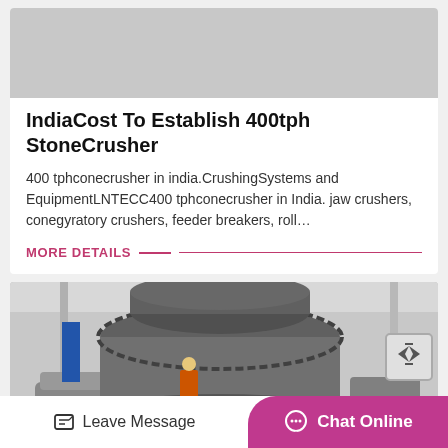[Figure (photo): Gray placeholder image at top of first card]
IndiaCost To Establish 400tph StoneCrusher
400 tphconecrusher in india.CrushingSystems and EquipmentLNTECC400 tphconecrusher in India. jaw crushers, conegyratory crushers, feeder breakers, roll…
MORE DETAILS
[Figure (photo): Industrial stone crusher machinery in a factory setting, large cylindrical cone crusher with worker in orange vest visible]
Leave Message   Chat Online